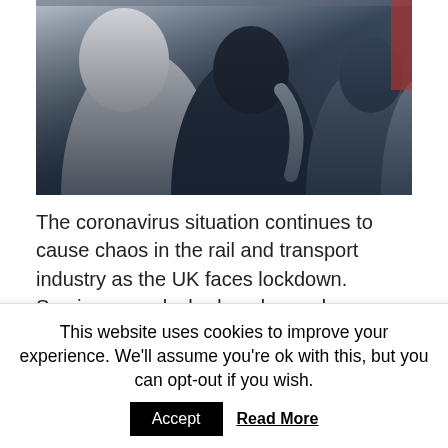[Figure (photo): Crowded public transport/train carriage with passengers standing close together, wearing winter jackets and backpacks, taken during coronavirus pandemic period.]
The coronavirus situation continues to cause chaos in the rail and transport industry as the UK faces lockdown. Services are slashed as demand collapses, social distancing measures are firmly in place and more events and runnings are postponed. Here's
This website uses cookies to improve your experience. We'll assume you're ok with this, but you can opt-out if you wish.
Accept  Read More